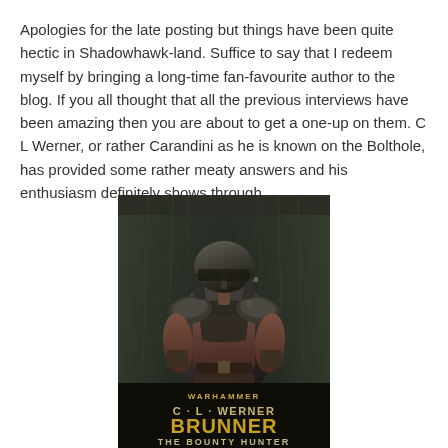Apologies for the late posting but things have been quite hectic in Shadowhawk-land. Suffice to say that I redeem myself by bringing a long-time fan-favourite author to the blog. If you all thought that all the previous interviews have been amazing then you are about to get a one-up on them. C L Werner, or rather Carandini as he is known on the Bolthole, has provided some rather meaty answers and his enthusiasm definitely shows through.
[Figure (illustration): Book cover for 'Brunner the Bounty Hunter' by C.L. Werner, a Warhammer novel. Shows a heavily armored warrior in a dark helmet with weapons, standing in a grim dark atmosphere. Text on cover reads 'WARHAMMER', 'C·L·WERNER', 'BRUNNER', 'THE BOUNTY HUNTER'.]